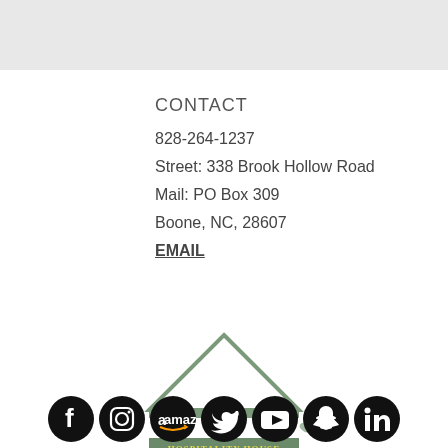CONTACT
828-264-1237
Street: 338 Brook Hollow Road
Mail: PO Box 309
Boone, NC, 28607
EMAIL
[Figure (logo): Hospitality House Northwest North Carolina logo — triangle roof shape above a row of hearts, with a green banner reading HOSPITALITY HOUSE / NORTHWEST / NORTH CAROLINA]
[Figure (infographic): Row of social media icons: Facebook, Instagram, Amazon, Twitter, YouTube, Snapchat, LinkedIn]